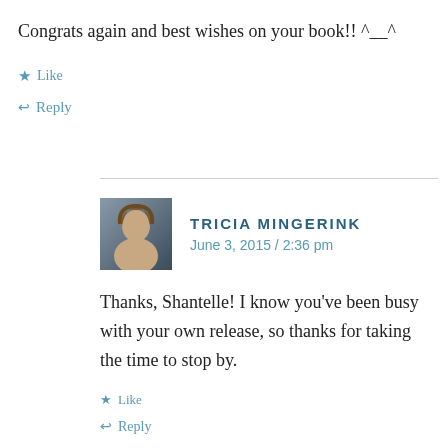Congrats again and best wishes on your book!! ^__^
Like
Reply
TRICIA MINGERINK
June 3, 2015 / 2:36 pm
Thanks, Shantelle! I know you've been busy with your own release, so thanks for taking the time to stop by.
Like
Reply